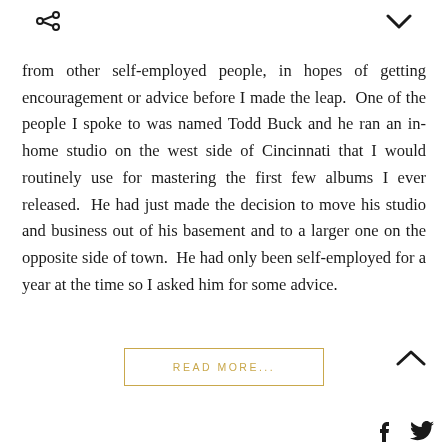< v
from other self-employed people, in hopes of getting encouragement or advice before I made the leap.  One of the people I spoke to was named Todd Buck and he ran an in-home studio on the west side of Cincinnati that I would routinely use for mastering the first few albums I ever released.  He had just made the decision to move his studio and business out of his basement and to a larger one on the opposite side of town.  He had only been self-employed for a year at the time so I asked him for some advice.
READ MORE...
f  t